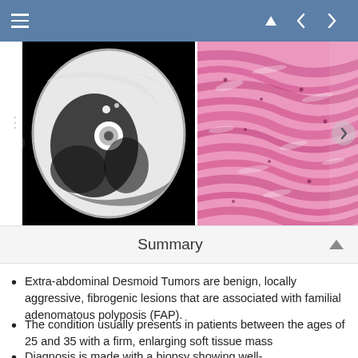≡   ▲ ‹ ›
[Figure (photo): CT scan image (axial view) showing a soft tissue mass in grayscale, black background]
[Figure (photo): Histological microscopy image with pink/magenta H&E stained tissue showing elongated fibroblastic spindle cells in a fibrous stroma]
Summary
Extra-abdominal Desmoid Tumors are benign, locally aggressive, fibrogenic lesions that are associated with familial adenomatous polyposis (FAP).
The condition usually presents in patients between the ages of 25 and 35 with a firm, enlarging soft tissue mass
Diagnosis is made with a biopsy showing well-